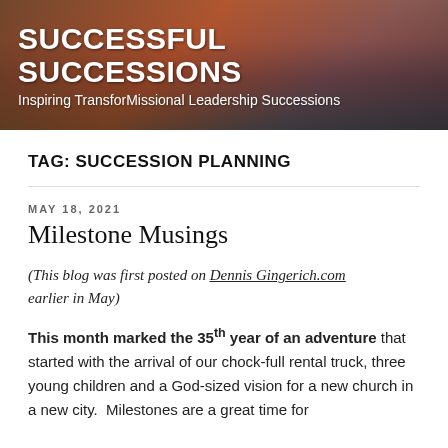SUCCESSFUL SUCCESSIONS
Inspiring TransforMissional Leadership Successions
TAG: SUCCESSION PLANNING
MAY 18, 2021
Milestone Musings
(This blog was first posted on Dennis Gingerich.com earlier in May)
This month marked the 35th year of an adventure that started with the arrival of our chock-full rental truck, three young children and a God-sized vision for a new church in a new city.  Milestones are a great time for